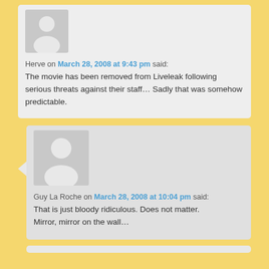Herve on March 28, 2008 at 9:43 pm said: The movie has been removed from Liveleak following serious threats against their staff… Sadly that was somehow predictable.
Guy La Roche on March 28, 2008 at 10:04 pm said: That is just bloody ridiculous. Does not matter. Mirror, mirror on the wall…